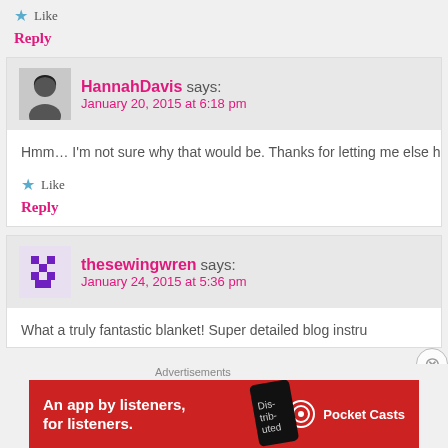★ Like
Reply
HannahDavis says: January 20, 2015 at 6:18 pm
Hmm… I'm not sure why that would be. Thanks for letting me else has had the same problem. I hope you're enjoying you
★ Like
Reply
thesewingwren says: January 24, 2015 at 5:36 pm
What a truly fantastic blanket! Super detailed blog instru
[Figure (other): Pocket Casts advertisement banner: red background, text 'An app by listeners, for listeners.' with Pocket Casts logo]